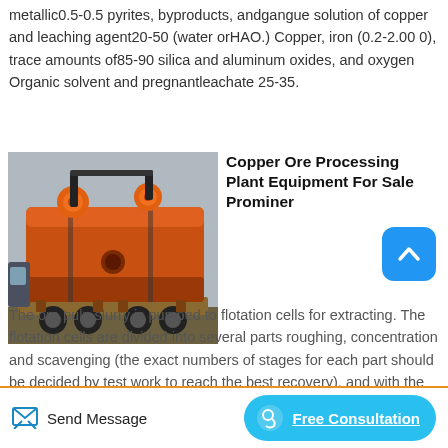metallic0.5-0.5 pyrites, byproducts, andgangue solution of copper and leaching agent20-50 (water orHAO.) Copper, iron (0.2-2.00 0), trace amounts of85-90 silica and aluminum oxides, and oxygen Organic solvent and pregnantleachate 25-35.
[Figure (photo): Large orange industrial copper ore processing tank/vessel loaded on a flatbed truck, photographed outdoors.]
Copper Ore Processing Plant Equipment For Sale Prominer
The ore pulp slurry is pumped to flotation cells for extracting. The flotation cells are divided into several parts roughing, concentration and scavenging (the exact numbers of stages for each part should be decided by test work to reach the best recovery), and with the use of frothing
Send Message    Free Consultation